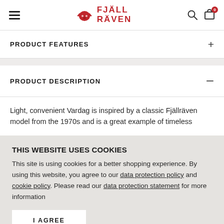[Figure (logo): Fjällräven logo with fox icon in red and brand name in red bold text]
PRODUCT FEATURES
PRODUCT DESCRIPTION
Light, convenient Vardag is inspired by a classic Fjällräven model from the 1970s and is a great example of timeless
THIS WEBSITE USES COOKIES
This site is using cookies for a better shopping experience. By using this website, you agree to our data protection policy and cookie policy. Please read our data protection statement for more information
I AGREE